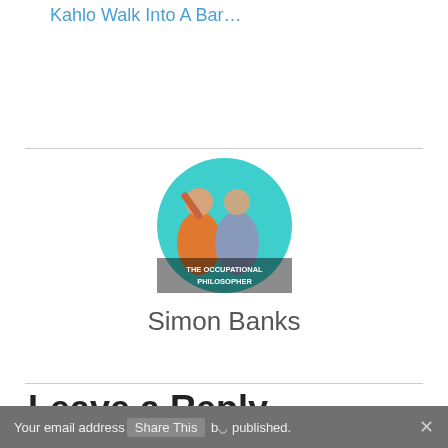Kahlo Walk Into A Bar…
[Figure (photo): Circular avatar image for The Occupational Philosopher showing two figures, one in orange and one in blue-grey robes, on a teal/turquoise background with text 'THE OCCUPATIONAL PHILOSOPHER']
Simon Banks
Leave a Reply
Your email address will not be published.
Share This